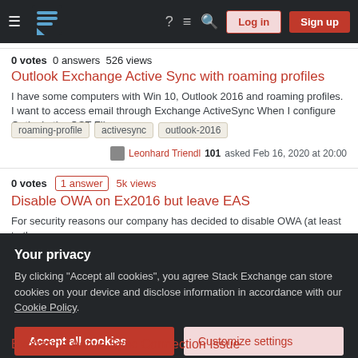Stack Exchange navigation bar with Log in and Sign up buttons
0 votes  0 answers  526 views
Outlook Exchange Active Sync with roaming profiles
I have some computers with Win 10, Outlook 2016 and roaming profiles. I want to access email through Exchange ActiveSync When I configure Outlook, the OST Fil...
roaming-profile
activesync
outlook-2016
Leonhard Triendl 101 asked Feb 16, 2020 at 20:00
0 votes  1 answer  5k views
Disable OWA on Ex2016 but leave EAS
For security reasons our company has decided to disable OWA (at least to the...
Your privacy
By clicking "Accept all cookies", you agree Stack Exchange can store cookies on your device and disclose information in accordance with our Cookie Policy.
Accept all cookies
Customize settings
Exchange Active Sync Connection Issue